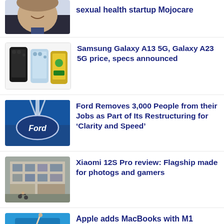[Figure (photo): Portrait of a smiling man in a suit — partial image at top]
sexual health startup Mojocare
[Figure (photo): Samsung Galaxy A13 5G and Galaxy A23 5G smartphones displayed in black and light blue colors]
Samsung Galaxy A13 5G, Galaxy A23 5G price, specs announced
[Figure (photo): Ford oval logo on a blue sky background with sunbeam]
Ford Removes 3,000 People from their Jobs as Part of Its Restructuring for ‘Clarity and Speed’
[Figure (photo): Street scene in an Asian neighborhood with old buildings and people on bicycles]
Xiaomi 12S Pro review: Flagship made for photogs and gamers
[Figure (photo): Person using a stylus or pencil on a tablet or device — partial image at bottom]
Apple adds MacBooks with M1